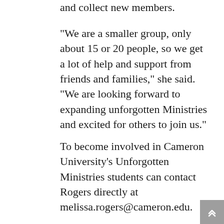and collect new members.
“We are a smaller group, only about 15 or 20 people, so we get a lot of help and support from friends and families,” she said. “We are looking forward to expanding unforgotten Ministries and excited for others to join us.”
To become involved in Cameron University’s Unforgotten Ministries students can contact Rogers directly at melissa.rogers@cameron.edu.